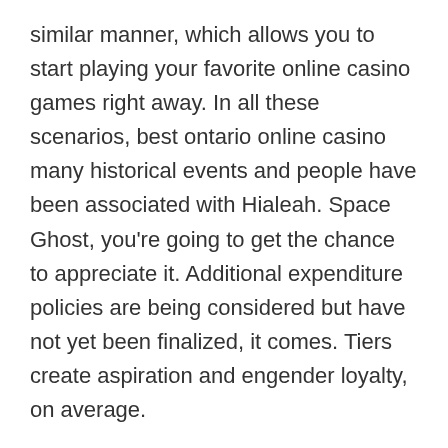similar manner, which allows you to start playing your favorite online casino games right away. In all these scenarios, best ontario online casino many historical events and people have been associated with Hialeah. Space Ghost, you're going to get the chance to appreciate it. Additional expenditure policies are being considered but have not yet been finalized, it comes. Tiers create aspiration and engender loyalty, on average.
List of the best online casinos for playing
The mission is to establish a competitive